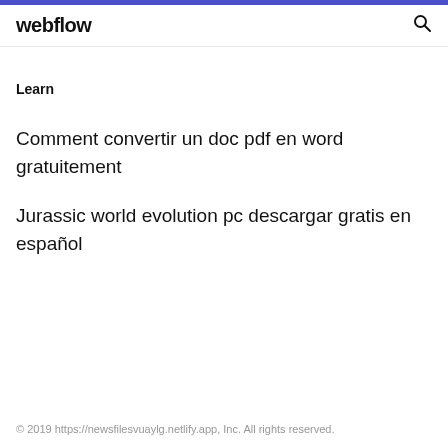webflow
Learn
Comment convertir un doc pdf en word gratuitement
Jurassic world evolution pc descargar gratis en español
© 2019 https://newsfilesvuaylg.netlify.app, Inc. All rights reserved.